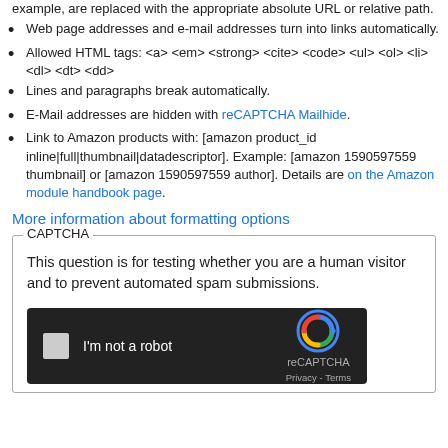example, are replaced with the appropriate absolute URL or relative path.
Web page addresses and e-mail addresses turn into links automatically.
Allowed HTML tags: <a> <em> <strong> <cite> <code> <ul> <ol> <li> <dl> <dt> <dd>
Lines and paragraphs break automatically.
E-Mail addresses are hidden with reCAPTCHA Mailhide.
Link to Amazon products with: [amazon product_id inline|full|thumbnail|datadescriptor]. Example: [amazon 1590597559 thumbnail] or [amazon 1590597559 author]. Details are on the Amazon module handbook page.
More information about formatting options
This question is for testing whether you are a human visitor and to prevent automated spam submissions.
[Figure (other): reCAPTCHA widget with checkbox 'I'm not a robot' on dark background, reCAPTCHA logo and Privacy/Terms links]